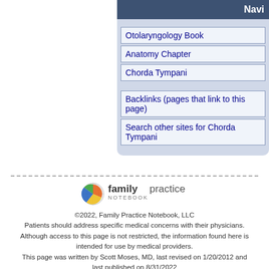[Figure (screenshot): Navigation panel for Family Practice Notebook showing Otolaryngology Book > Anatomy Chapter > Chorda Tympani breadcrumb navigation with backlinks and search links]
Otolaryngology Book
Anatomy Chapter
Chorda Tympani
Backlinks (pages that link to this page)
Search other sites for Chorda Tympani
[Figure (logo): Family Practice Notebook logo]
©2022, Family Practice Notebook, LLC
Patients should address specific medical concerns with their physicians. Although access to this page is not restricted, the information found here is intended for use by medical providers.
This page was written by Scott Moses, MD, last revised on 1/20/2012 and last published on 8/31/2022
This is one of 7122 pages in the Family Practice Notebook
- Terms, Conditions, Privacy (FPN)  - Privacy (UBM, external)  - Contact
- Site Map  - Blog